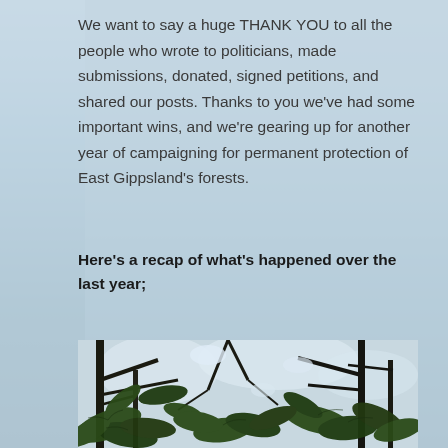We want to say a huge THANK YOU to all the people who wrote to politicians, made submissions, donated, signed petitions, and shared our posts. Thanks to you we've had some important wins, and we're gearing up for another year of campaigning for permanent protection of East Gippsland's forests.
Here's a recap of what's happened over the last year;
[Figure (photo): Photo of forest canopy looking upward through tree ferns and branches with sky visible between foliage]